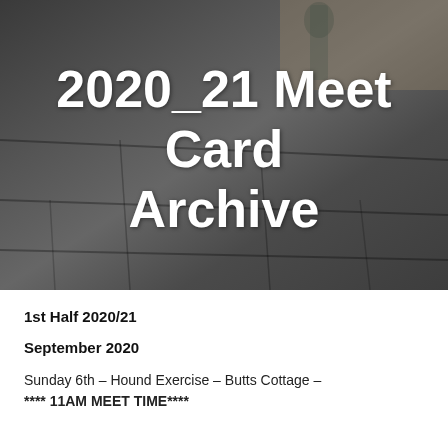[Figure (photo): Outdoor patio with dark paving stones, a pressure washer and hose visible in background, with white text overlay reading '2020_21 Meet Card Archive']
2020_21 Meet Card Archive
1st Half 2020/21
September 2020
Sunday 6th – Hound Exercise – Butts Cottage – **** 11AM MEET TIME****